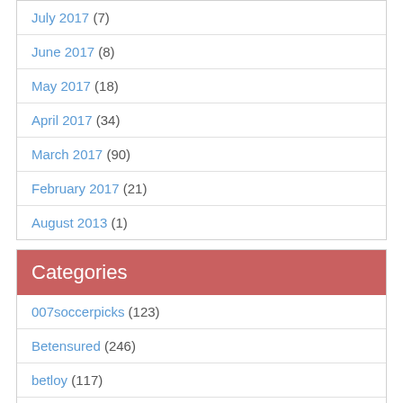July 2017 (7)
June 2017 (8)
May 2017 (18)
April 2017 (34)
March 2017 (90)
February 2017 (21)
August 2013 (1)
Categories
007soccerpicks (123)
Betensured (246)
betloy (117)
bettingclosed (167)
elitebet (240)
freosupportins (68)